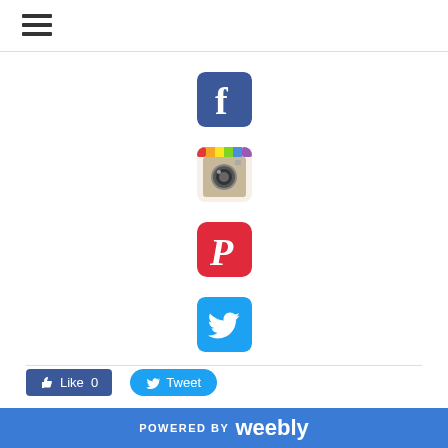[Figure (logo): Hamburger menu icon (three horizontal lines)]
[Figure (logo): Facebook social media icon - blue square with white 'f' logo]
[Figure (logo): Instagram social media icon - camera logo with colorful top stripe]
[Figure (logo): Pinterest social media icon - red rounded square with white 'P' logo]
[Figure (logo): Twitter social media icon - cyan/blue square with white bird logo]
[Figure (logo): Like button (Facebook) showing thumbs up icon and 'Like 0']
[Figure (logo): Tweet button (Twitter) showing bird icon and 'Tweet']
POWERED BY weebly